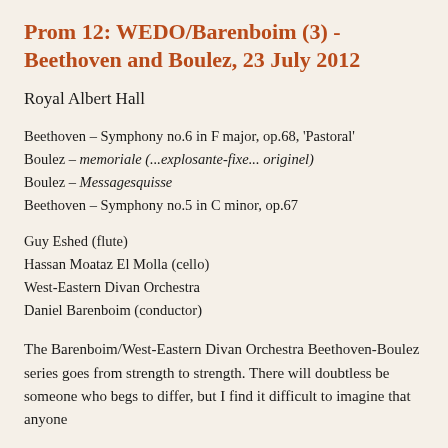Prom 12: WEDO/Barenboim (3) - Beethoven and Boulez, 23 July 2012
Royal Albert Hall
Beethoven – Symphony no.6 in F major, op.68, 'Pastoral'
Boulez – memoriale (...explosante-fixe... originel)
Boulez – Messagesquisse
Beethoven – Symphony no.5 in C minor, op.67
Guy Eshed (flute)
Hassan Moataz El Molla (cello)
West-Eastern Divan Orchestra
Daniel Barenboim (conductor)
The Barenboim/West-Eastern Divan Orchestra Beethoven-Boulez series goes from strength to strength. There will doubtless be someone who begs to differ, but I find it difficult to imagine that anyone